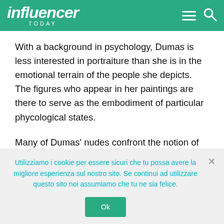influencer TODAY
With a background in psychology, Dumas is less interested in portraiture than she is in the emotional terrain of the people she depicts. The figures who appear in her paintings are there to serve as the embodiment of particular phycological states.
Many of Dumas’ nudes confront the notion of sexual pleasure and its correlation with shame. “Fingers” (1999) appeared amid a series of work exploring the eroticised body and depicts a woman bent over and using her fingers to open herself for
Utilizziamo i cookie per essere sicuri che tu possa avere la migliore esperienza sul nostro sito. Se continui ad utilizzare questo sito noi assumiamo che tu ne sia felice.